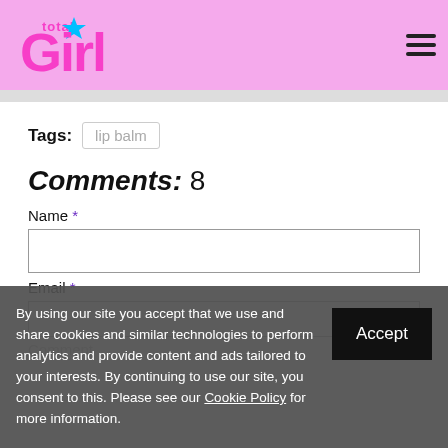Total Girl
Tags: lip balm
Comments: 8
Name *
Email *
Comment
By using our site you accept that we use and share cookies and similar technologies to perform analytics and provide content and ads tailored to your interests. By continuing to use our site, you consent to this. Please see our Cookie Policy for more information.